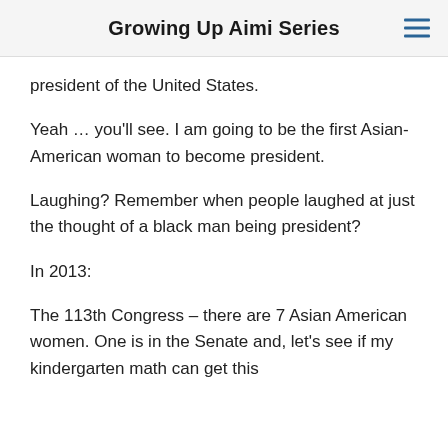Growing Up Aimi Series
president of the United States.
Yeah … you'll see. I am going to be the first Asian-American woman to become president.
Laughing? Remember when people laughed at just the thought of a black man being president?
In 2013:
The 113th Congress – there are 7 Asian American women. One is in the Senate and, let's see if my kindergarten math can get this